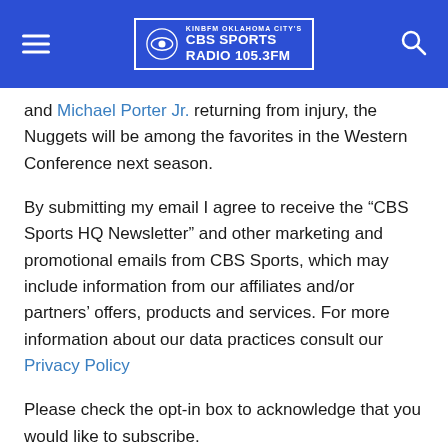KINBFM Oklahoma City's CBS Sports Radio 105.3FM
and Michael Porter Jr. returning from injury, the Nuggets will be among the favorites in the Western Conference next season.
By submitting my email I agree to receive the “CBS Sports HQ Newsletter” and other marketing and promotional emails from CBS Sports, which may include information from our affiliates and/or partners’ offers, products and services. For more information about our data practices consult our Privacy Policy
Please check the opt-in box to acknowledge that you would like to subscribe.
Thanks for signing up!